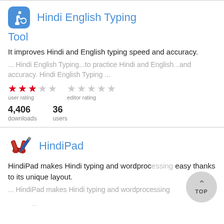Hindi English Typing Tool
It improves Hindi and English typing speed and accuracy.
... Hindi English Typing...to practice Hindi and English...and accuracy. Hindi English Typing ...
user rating: 3/5 stars, editor rating: unrated
4,406 downloads  36 users
HindiPad
HindiPad makes Hindi typing and wordprocessing easy thanks to its unique layout.
... HindiPad makes Hindi typing and wordprocessing...